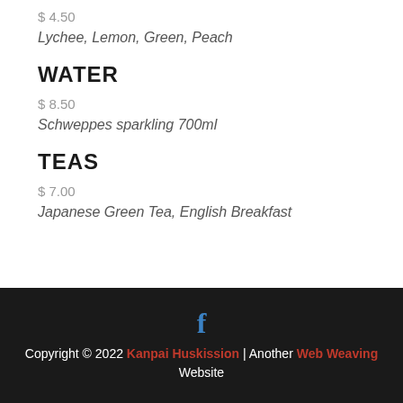$ 4.50
Lychee, Lemon, Green, Peach
WATER
$ 8.50
Schweppes sparkling 700ml
TEAS
$ 7.00
Japanese Green Tea, English Breakfast
Copyright © 2022 Kanpai Huskission | Another Web Weaving Website